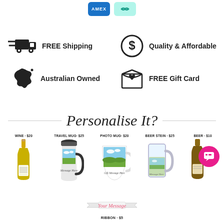[Figure (infographic): Payment method icons: AMEX (blue badge) and Afterpay (teal badge with arrows icon)]
[Figure (infographic): Four feature icons with labels: FREE Shipping (delivery truck), Quality & Affordable (dollar sign circle), Australian Owned (Australia map shape), FREE Gift Card (envelope with heart)]
Personalise It?
[Figure (infographic): Row of personalised product options: WINE $20 (wine bottle), TRAVEL MUG $25 (travel mug), PHOTO MUG $20 (photo mug), BEER STEIN $25 (beer stein), BEER $10 (beer bottle with chat bubble overlay)]
[Figure (infographic): RIBBON $5 product with cursive 'Your Message' text on a ribbon graphic]
RIBBON · $5